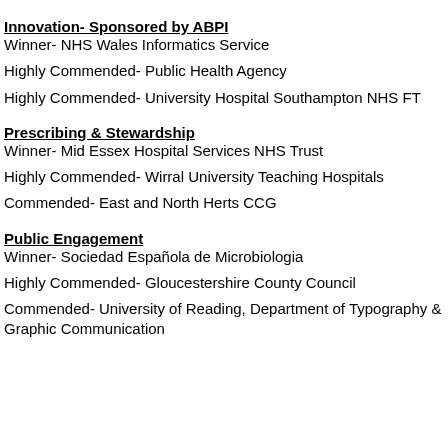Innovation- Sponsored by ABPI
Winner- NHS Wales Informatics Service
Highly Commended- Public Health Agency
Highly Commended- University Hospital Southampton NHS FT
Prescribing & Stewardship
Winner- Mid Essex Hospital Services NHS Trust
Highly Commended- Wirral University Teaching Hospitals
Commended- East and North Herts CCG
Public Engagement
Winner- Sociedad Española de Microbiologia
Highly Commended- Gloucestershire County Council
Commended- University of Reading, Department of Typography & Graphic Communication